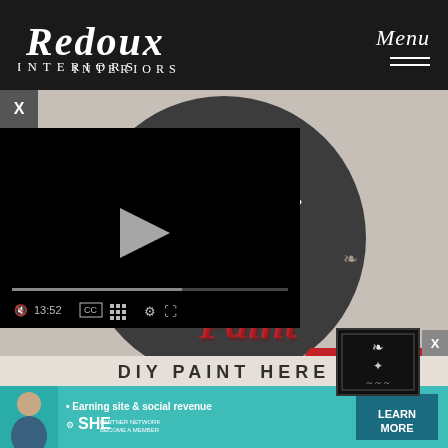[Figure (logo): Redoux Interiors logo in white decorative script on dark background header, with Menu text and hamburger lines on the right]
[Figure (illustration): Circular dark chalkboard-style badge with teal 'DIY' text, red cursive 'Paint' text, decorative white flourishes and hearts, on a light gray background. Red ribbon banner at bottom right reading 'ERE' (part of 'HERE')]
[Figure (screenshot): Black video player overlay with play button triangle, progress bar, and controls showing 13:52 timestamp, CC, grid, settings and fullscreen icons]
[Figure (illustration): Small decorative ornamental card with black and white floral/scroll pattern]
[Figure (infographic): Teal advertisement banner: person photo on left, bullet point 'Earning site & social revenue', SHE Partner Network logo, 'BECOME A MEMBER' text, dark teal 'LEARN MORE' button on right]